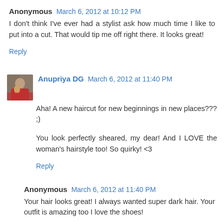Anonymous  March 6, 2012 at 10:12 PM
I don't think I've ever had a stylist ask how much time I like to put into a cut. That would tip me off right there. It looks great!
Reply
Anupriya DG  March 6, 2012 at 11:40 PM
Aha! A new haircut for new beginnings in new places??? ;)
You look perfectly sheared, my dear! And I LOVE the woman's hairstyle too! So quirky! <3
Reply
Anonymous  March 6, 2012 at 11:40 PM
Your hair looks great! I always wanted super dark hair. Your outfit is amazing too I love the shoes!
Reply